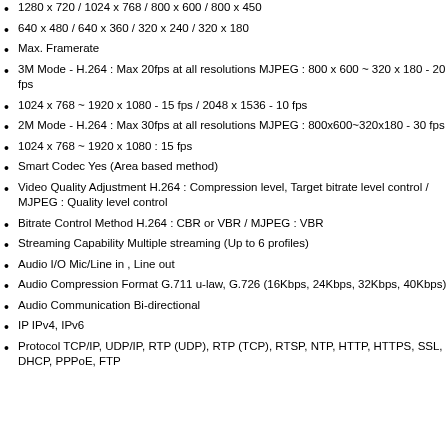1280 x 720 / 1024 x 768 / 800 x 600 / 800 x 450
640 x 480 / 640 x 360 / 320 x 240 / 320 x 180
Max. Framerate
3M Mode - H.264 : Max 20fps at all resolutions MJPEG : 800 x 600 ~ 320 x 180 - 20 fps
1024 x 768 ~ 1920 x 1080 - 15 fps / 2048 x 1536 - 10 fps
2M Mode - H.264 : Max 30fps at all resolutions MJPEG : 800x600~320x180 - 30 fps
1024 x 768 ~ 1920 x 1080 : 15 fps
Smart Codec Yes (Area based method)
Video Quality Adjustment H.264 : Compression level, Target bitrate level control / MJPEG : Quality level control
Bitrate Control Method H.264 : CBR or VBR / MJPEG : VBR
Streaming Capability Multiple streaming (Up to 6 profiles)
Audio I/O Mic/Line in , Line out
Audio Compression Format G.711 u-law, G.726 (16Kbps, 24Kbps, 32Kbps, 40Kbps)
Audio Communication Bi-directional
IP IPv4, IPv6
Protocol TCP/IP, UDP/IP, RTP (UDP), RTP (TCP), RTSP, NTP, HTTP, HTTPS, SSL, DHCP, PPPoE, FTP